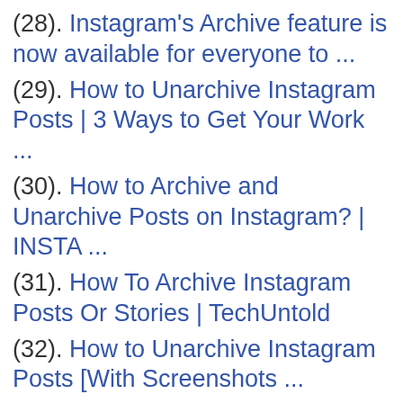(28). Instagram's Archive feature is now available for everyone to ...
(29). How to Unarchive Instagram Posts | 3 Ways to Get Your Work ...
(30). How to Archive and Unarchive Posts on Instagram? | INSTA ...
(31). How To Archive Instagram Posts Or Stories | TechUntold
(32). How to Unarchive Instagram Posts [With Screenshots ...
(33). What Does Archiving Instagram Posts Do? – Nerds Chalk
(34). How Do I Archive Shared Posts ...